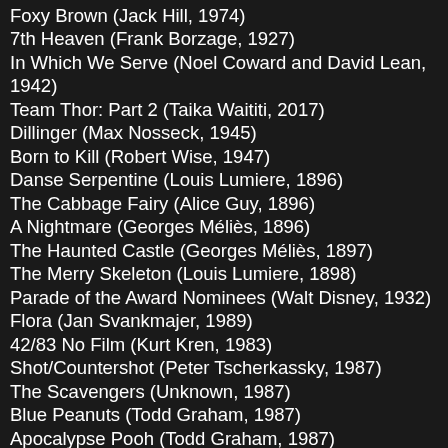Foxy Brown (Jack Hill, 1974)
7th Heaven (Frank Borzage, 1927)
In Which We Serve (Noel Coward and David Lean, 1942)
Team Thor: Part 2 (Taika Waititi, 2017)
Dillinger (Max Nosseck, 1945)
Born to Kill (Robert Wise, 1947)
Danse Serpentine (Louis Lumiere, 1896)
The Cabbage Fairy (Alice Guy, 1896)
A Nightmare (Georges Méliès, 1896)
The Haunted Castle (Georges Méliès, 1897)
The Merry Skeleton (Louis Lumiere, 1898)
Parade of the Award Nominees (Walt Disney, 1932)
Flora (Jan Svankmajer, 1989)
42/83 No Film (Kurt Kren, 1983)
Shot/Countershot (Peter Tscherkassky, 1987)
The Scavengers (Unknown, 1987)
Blue Peanuts (Todd Graham, 1987)
Apocalypse Pooh (Todd Graham, 1987)
Good Grief! Cancer Boy! (Todd Graham, 1990)
Memorial Procession in English Country Town (Unknown, 1915)
No Mischief Here Can Satan Find for Idle Hands to Do